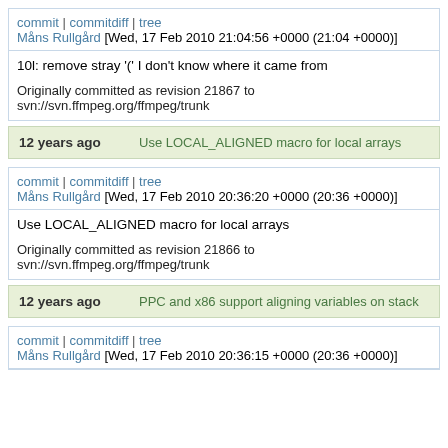commit | commitdiff | tree
Måns Rullgård [Wed, 17 Feb 2010 21:04:56 +0000 (21:04 +0000)]
10l: remove stray '(' I don't know where it came from

Originally committed as revision 21867 to svn://svn.ffmpeg.org/ffmpeg/trunk
12 years ago    Use LOCAL_ALIGNED macro for local arrays
commit | commitdiff | tree
Måns Rullgård [Wed, 17 Feb 2010 20:36:20 +0000 (20:36 +0000)]
Use LOCAL_ALIGNED macro for local arrays

Originally committed as revision 21866 to svn://svn.ffmpeg.org/ffmpeg/trunk
12 years ago    PPC and x86 support aligning variables on stack
commit | commitdiff | tree
Måns Rullgård [Wed, 17 Feb 2010 20:36:15 +0000 (20:36 +0000)]